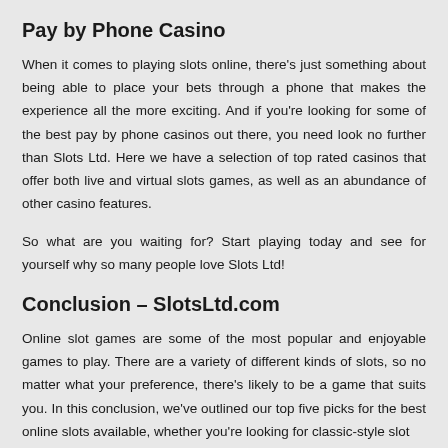Pay by Phone Casino
When it comes to playing slots online, there's just something about being able to place your bets through a phone that makes the experience all the more exciting. And if you're looking for some of the best pay by phone casinos out there, you need look no further than Slots Ltd. Here we have a selection of top rated casinos that offer both live and virtual slots games, as well as an abundance of other casino features.
So what are you waiting for? Start playing today and see for yourself why so many people love Slots Ltd!
Conclusion – SlotsLtd.com
Online slot games are some of the most popular and enjoyable games to play. There are a variety of different kinds of slots, so no matter what your preference, there's likely to be a game that suits you. In this conclusion, we've outlined our top five picks for the best online slots available, whether you're looking for classic-style slot